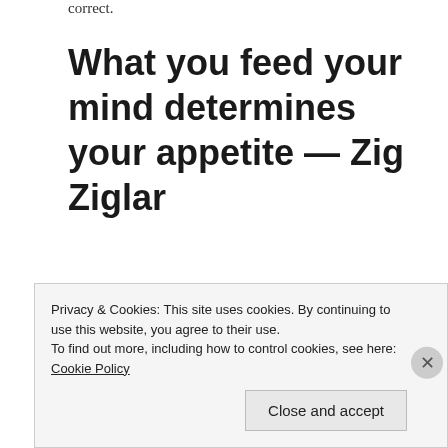correct.
What you feed your mind determines your appetite — Zig Ziglar
It's no secret that social media utilizes algorithmic curation to determine what gets priority on your newsfeed. Google searches, email lists, Facebook likes, etc. are continually fine-tuning the filter towards the
Privacy & Cookies: This site uses cookies. By continuing to use this website, you agree to their use. To find out more, including how to control cookies, see here: Cookie Policy Close and accept